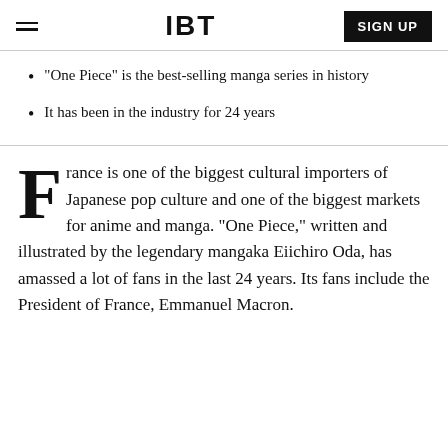IBT | SIGN UP
"One Piece" is the best-selling manga series in history
It has been in the industry for 24 years
France is one of the biggest cultural importers of Japanese pop culture and one of the biggest markets for anime and manga. "One Piece," written and illustrated by the legendary mangaka Eiichiro Oda, has amassed a lot of fans in the last 24 years. Its fans include the President of France, Emmanuel Macron.